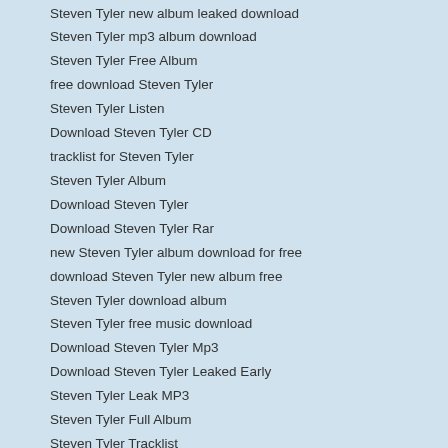Steven Tyler new album leaked download
Steven Tyler mp3 album download
Steven Tyler Free Album
free download Steven Tyler
Steven Tyler Listen
Download Steven Tyler CD
tracklist for Steven Tyler
Steven Tyler Album
Download Steven Tyler
Download Steven Tyler Rar
new Steven Tyler album download for free
download Steven Tyler new album free
Steven Tyler download album
Steven Tyler free music download
Download Steven Tyler Mp3
Download Steven Tyler Leaked Early
Steven Tyler Leak MP3
Steven Tyler Full Album
Steven Tyler Tracklist
Download Steven Tyler iTunes
Steven Tyler leak listen
Steven Tyler album leaked download